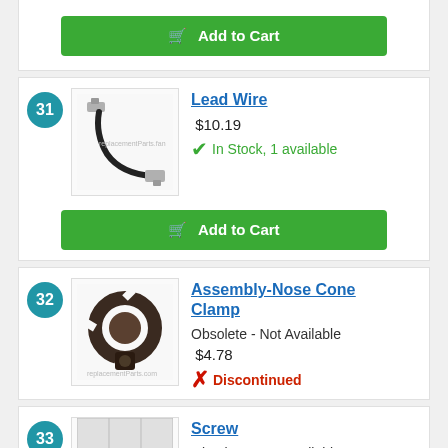[Figure (screenshot): Add to Cart green button at top of page]
[Figure (photo): Item 31: Lead Wire part photo - curved black wire with connectors]
Lead Wire
$10.19
In Stock, 1 available
[Figure (screenshot): Add to Cart green button for Lead Wire]
[Figure (photo): Item 32: Assembly-Nose Cone Clamp part photo - dark metal ring clamp]
Assembly-Nose Cone Clamp
Obsolete - Not Available
$4.78
Discontinued
[Figure (photo): Item 33: Screw part photo - partial view]
Screw
Obsolete - Not Available